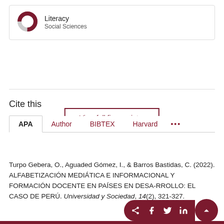[Figure (infographic): Donut/ring chart icon representing Literacy in Social Sciences, partially filled in dark red/maroon]
Literacy
Social Sciences
View full fingerprint >
Cite this
APA   Author   BIBTEX   Harvard   ...
Turpo Gebera, O., Aguaded Gómez, I., & Barros Bastidas, C. (2022). ALFABETIZACIÓN MEDIÁTICA E INFORMACIONAL Y FORMACIÓN DOCENTE EN PAÍSES EN DESA-RROLLO: EL CASO DE PERÚ. Universidad y Sociedad, 14(2), 321-327.